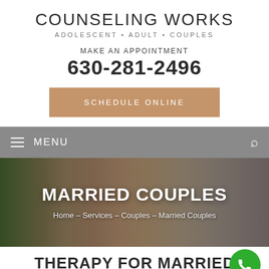COUNSELING WORKS
ADOLESCENT • ADULT • COUPLES
MAKE AN APPOINTMENT
630-281-2496
SCHEDULE ONLINE
≡  MENU
MARRIED COUPLES
Home – Services – Couples – Married Couples
THERAPY FOR MARRIED COUPLES